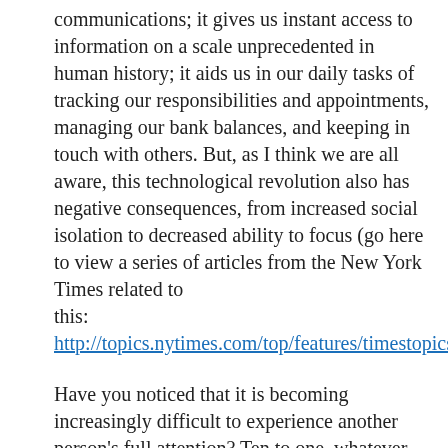communications; it gives us instant access to information on a scale unprecedented in human history; it aids us in our daily tasks of tracking our responsibilities and appointments, managing our bank balances, and keeping in touch with others. But, as I think we are all aware, this technological revolution also has negative consequences, from increased social isolation to decreased ability to focus (go here to view a series of articles from the New York Times related to this: http://topics.nytimes.com/top/features/timestopics/series/
Have you noticed that it is becoming increasingly difficult to experience another person's full attention? Ten to one, whatever you happen to be doing, whomever you are with is not just interacting with you, but also answering a phone call, texting a message, or searching the Internet for the latest detail of information they just have to put their fingers on right then and there. There seems to be no end to the potential for the disruption and distraction available, even when ostensibly there is a social ‘moment’ going on…say, for example, a conversation around a dinner table...